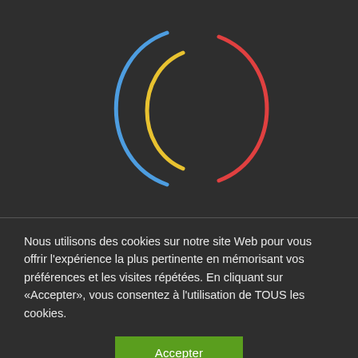[Figure (logo): Abstract logo with three colored arcs: a blue outer-left arc, a yellow inner-left arc, and a red right arc arranged to suggest parentheses or a stylized symbol on a dark background.]
Nous utilisons des cookies sur notre site Web pour vous offrir l'expérience la plus pertinente en mémorisant vos préférences et les visites répétées. En cliquant sur «Accepter», vous consentez à l'utilisation de TOUS les cookies.
Accepter